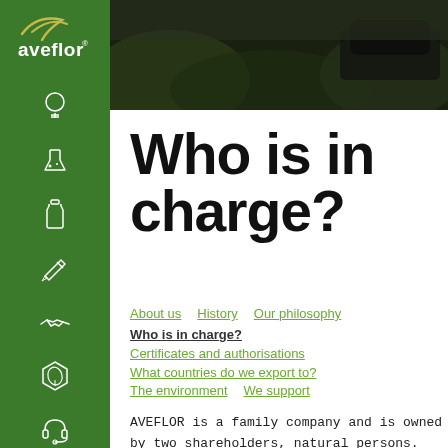[Figure (logo): Aveflor logo with leaf arc above text on green sidebar]
[Figure (photo): Dark outdoor photo showing vehicle in background with greenery]
Who is in charge?
About us   History   Our philosophy
Who is in charge?
Certificates and authorisations
What countries do we export to?
The environment   We support
AVEFLOR is a family company and is owned by two shareholders, natural persons. The